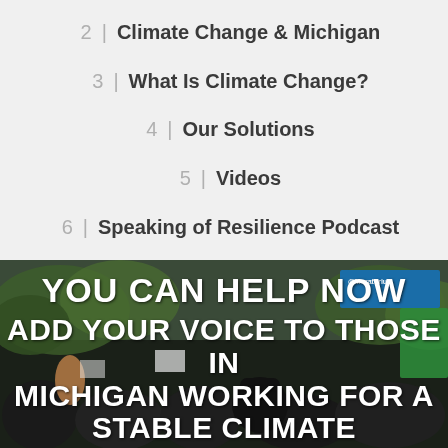2 | Climate Change & Michigan
3 | What Is Climate Change?
4 | Our Solutions
5 | Videos
6 | Speaking of Resilience Podcast
[Figure (photo): Crowd of protesters at a climate rally holding signs, with trees in the background. Overlaid white bold text reads: YOU CAN HELP NOW ADD YOUR VOICE TO THOSE IN MICHIGAN WORKING FOR A STABLE CLIMATE]
YOU CAN HELP NOW ADD YOUR VOICE TO THOSE IN MICHIGAN WORKING FOR A STABLE CLIMATE